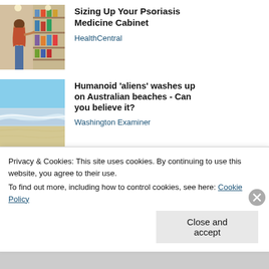[Figure (photo): Woman in pharmacy aisle looking at products on shelves]
Sizing Up Your Psoriasis Medicine Cabinet
HealthCentral
[Figure (photo): Beach scene with waves and sandy shore under blue sky]
Humanoid 'aliens' washes up on Australian beaches - Can you believe it?
Washington Examiner
Privacy & Cookies: This site uses cookies. By continuing to use this website, you agree to their use.
To find out more, including how to control cookies, see here: Cookie Policy
Close and accept